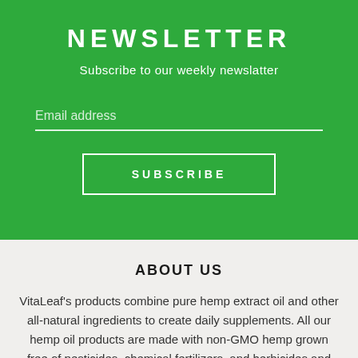NEWSLETTER
Subscribe to our weekly newslatter
Email address
SUBSCRIBE
ABOUT US
VitaLeaf's products combine pure hemp extract oil and other all-natural ingredients to create daily supplements. All our hemp oil products are made with non-GMO hemp grown free of pesticides, chemical fertilizers, and herbicides and put through a 3rd party test